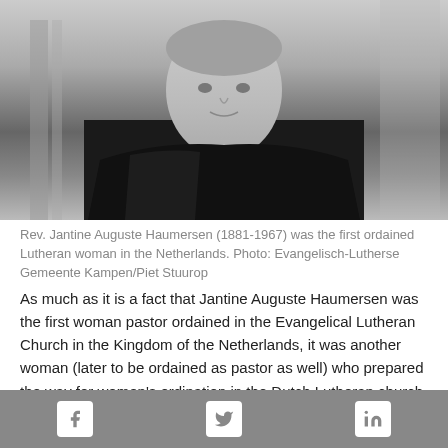[Figure (photo): Black and white photograph of Rev. Jantine Auguste Haumersen, an elderly woman wearing clerical robes, seated with stairs visible in the background.]
Rev. Jantine Auguste Haumersen (1881-1967) was the first ordained Lutheran woman in the Netherlands. Photo: Evangelisch-Lutherse Gemeente Kampen/Piet Stuurop
As much as it is a fact that Jantine Auguste Haumersen was the first woman pastor ordained in the Evangelical Lutheran Church in the Kingdom of the Netherlands, it was another woman (later to be ordained as pastor as well) who prepared the way for women’s ordination in the Dutch Lutheran church.
In 1922 Laurence Caroline Dufour (1902-1988), then a
Social media icons: Facebook, Twitter, LinkedIn